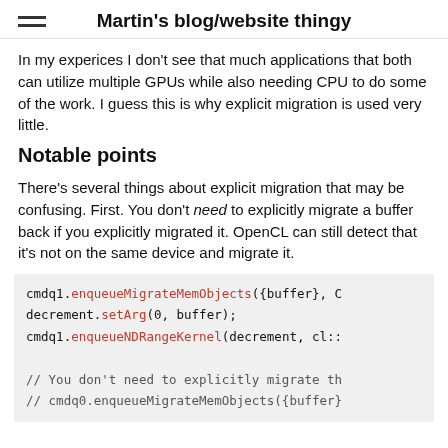Martin's blog/website thingy
In my experices I don't see that much applications that both can utilize multiple GPUs while also needing CPU to do some of the work. I guess this is why explicit migration is used very little.
Notable points
There's several things about explicit migration that may be confusing. First. You don't need to explicitly migrate a buffer back if you explicitly migrated it. OpenCL can still detect that it's not on the same device and migrate it.
[Figure (screenshot): Code block showing OpenCL buffer migration code: cmdq1.enqueueMigrateMemObjects({buffer}, C, decrement.setArg(0, buffer); cmdq1.enqueueNDRangeKernel(decrement, cl:: // You don't need to explicitly migrate th // cmdq0.enqueueMigrateMemObjects({buffer}]